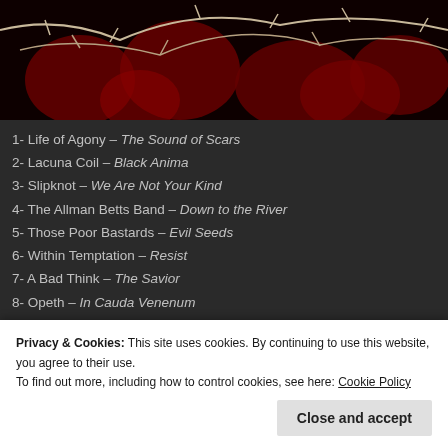[Figure (photo): Dark album art image with thorns/barbed wire and red roses on black background]
1- Life of Agony – The Sound of Scars
2- Lacuna Coil – Black Anima
3- Slipknot – We Are Not Your Kind
4- The Allman Betts Band – Down to the River
5- Those Poor Bastards – Evil Seeds
6- Within Temptation – Resist
7- A Bad Think – The Savior
8- Opeth – In Cauda Venenum
9- King Hobo – Mauga
10- Whitechapel – The Valley
[Figure (photo): Red smartphone device with partial red branded logo visible]
Privacy & Cookies: This site uses cookies. By continuing to use this website, you agree to their use. To find out more, including how to control cookies, see here: Cookie Policy
Close and accept